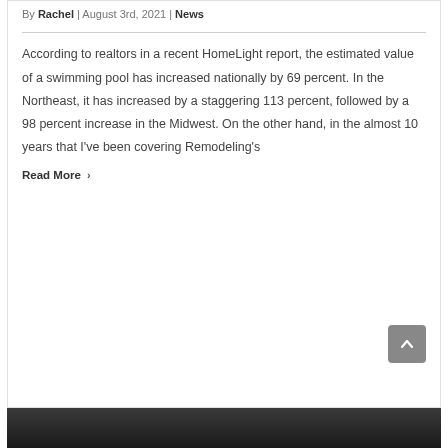By Rachel | August 3rd, 2021 | News
According to realtors in a recent HomeLight report, the estimated value of a swimming pool has increased nationally by 69 percent. In the Northeast, it has increased by a staggering 113 percent, followed by a 98 percent increase in the Midwest. On the other hand, in the almost 10 years that I've been covering Remodeling's
Read More >
[Figure (photo): Dark outdoor scene visible at the bottom of the page]